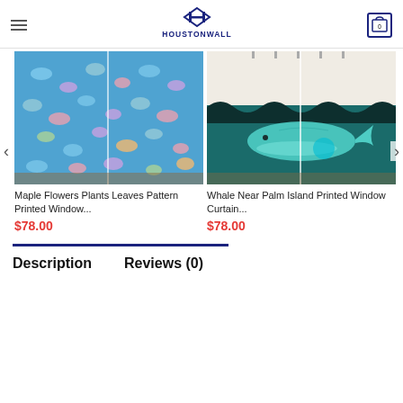HOUSTONWALL
[Figure (photo): Curtain with maple flowers plants leaves pattern in blue tones]
Maple Flowers Plants Leaves Pattern Printed Window...
$78.00
[Figure (photo): Curtain with whale near palm island printed on teal/dark ocean background]
Whale Near Palm Island Printed Window Curtain...
$78.00
Description
Reviews (0)